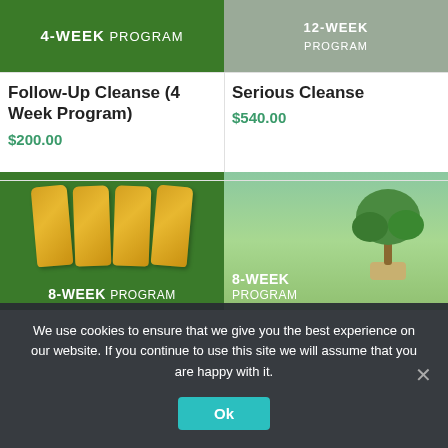[Figure (screenshot): Product listing screenshot showing two product cards in a 2-column grid. Top left: Follow-Up Cleanse (4 Week Program) image with green background and '4-WEEK PROGRAM' text. Top right: Serious Cleanse with blurred image and program label. Bottom left: 8-WEEK PROGRAM image with bags on green background. Bottom right: 8-WEEK PROGRAM with bonsai tree in rice field background.]
Follow-Up Cleanse (4 Week Program)
$200.00
Serious Cleanse
$540.00
We use cookies to ensure that we give you the best experience on our website. If you continue to use this site we will assume that you are happy with it.